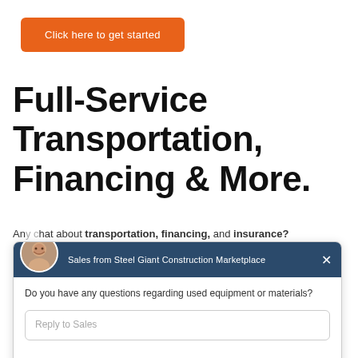[Figure (other): Orange button with text 'Click here to get started']
Full-Service Transportation, Financing & More.
Any chat about transportation, financing, and insurance?
[Figure (screenshot): Chat widget from Drift showing a sales representative. Header: 'Sales from Steel Giant Construction Marketplace'. Message: 'Do you have any questions regarding used equipment or materials?' with a 'Reply to Sales' input field and 'Chat by Drift' footer.]